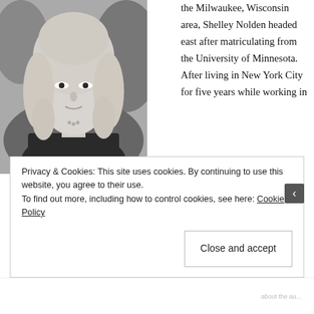[Figure (photo): Black and white portrait photo of Shelley Nolden, a woman with long blonde wavy hair, wearing a dark top with a necklace, photographed outdoors with a blurred background.]
the Milwaukee, Wisconsin area, Shelley Nolden headed east after matriculating from the University of Minnesota. After living in New York City for five years while working in finance, she and her husband decided they weren't meant for city life and moved to
Privacy & Cookies: This site uses cookies. By continuing to use this website, you agree to their use.
To find out more, including how to control cookies, see here: Cookie Policy
Close and accept